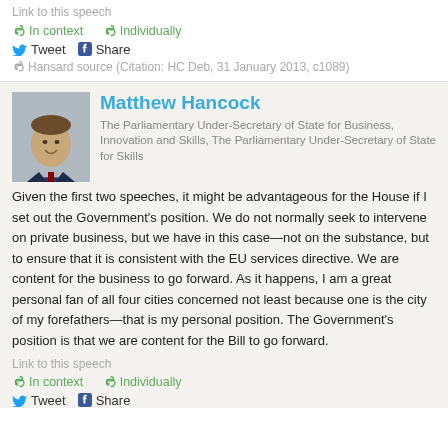Link to this speech
In context   Individually
Tweet   Share
Hansard source (Citation: HC Deb, 31 January 2013, c1089)
Matthew Hancock
The Parliamentary Under-Secretary of State for Business, Innovation and Skills, The Parliamentary Under-Secretary of State for Skills
Given the first two speeches, it might be advantageous for the House if I set out the Government's position. We do not normally seek to intervene on private business, but we have in this case—not on the substance, but to ensure that it is consistent with the EU services directive. We are content for the business to go forward. As it happens, I am a great personal fan of all four cities concerned not least because one is the city of my forefathers—that is my personal position. The Government's position is that we are content for the Bill to go forward.
Link to this speech
In context   Individually
Tweet   Share